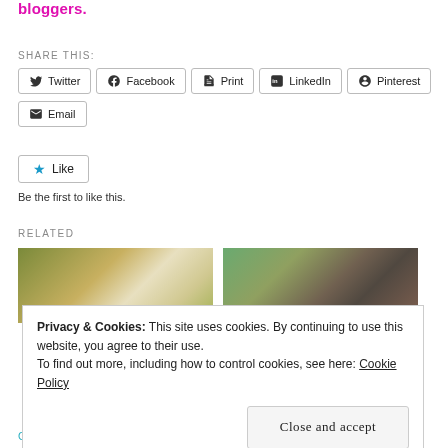bloggers.
SHARE THIS:
[Figure (screenshot): Social sharing buttons: Twitter, Facebook, Print, LinkedIn, Pinterest, Email]
[Figure (screenshot): Like button with star icon and text 'Be the first to like this.']
RELATED
[Figure (photo): Two related article thumbnail images side by side]
Privacy & Cookies: This site uses cookies. By continuing to use this website, you agree to their use.
To find out more, including how to control cookies, see here: Cookie Policy
Close and accept
Chairs and Muffins
Part 1